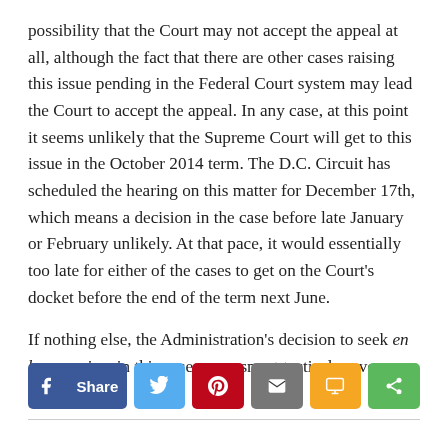possibility that the Court may not accept the appeal at all, although the fact that there are other cases raising this issue pending in the Federal Court system may lead the Court to accept the appeal. In any case, at this point it seems unlikely that the Supreme Court will get to this issue in the October 2014 term. The D.C. Circuit has scheduled the hearing on this matter for December 17th, which means a decision in the case before late January or February unlikely. At that pace, it would essentially too late for either of the cases to get on the Court's docket before the end of the term next June.
If nothing else, the Administration's decision to seek en banc review in this case was a smart tactical move.
[Figure (infographic): Social sharing buttons: Facebook Share, Twitter, Pinterest, Email, SMS, Share (green)]